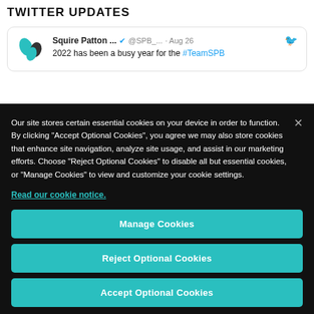TWITTER UPDATES
[Figure (screenshot): Tweet card from Squire Patton (@SPB_...) dated Aug 26 with text '2022 has been a busy year for the #TeamSPB']
Our site stores certain essential cookies on your device in order to function. By clicking “Accept Optional Cookies”, you agree we may also store cookies that enhance site navigation, analyze site usage, and assist in our marketing efforts. Choose “Reject Optional Cookies” to disable all but essential cookies, or “Manage Cookies” to view and customize your cookie settings.
Read our cookie notice.
Manage Cookies
Reject Optional Cookies
Accept Optional Cookies